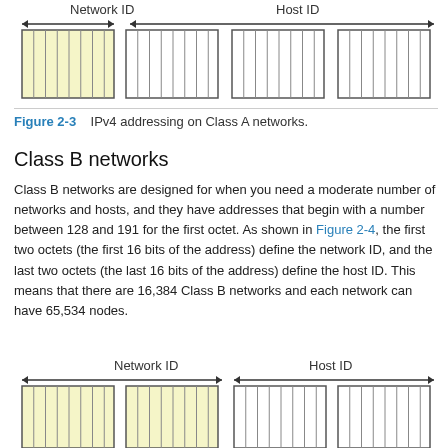[Figure (schematic): IPv4 Class A addressing diagram showing Network ID (first octet, yellow shaded) and Host ID (remaining three octets, white) with arrows indicating spans across bit blocks.]
Figure 2-3    IPv4 addressing on Class A networks.
Class B networks
Class B networks are designed for when you need a moderate number of networks and hosts, and they have addresses that begin with a number between 128 and 191 for the first octet. As shown in Figure 2-4, the first two octets (the first 16 bits of the address) define the network ID, and the last two octets (the last 16 bits of the address) define the host ID. This means that there are 16,384 Class B networks and each network can have 65,534 nodes.
[Figure (schematic): IPv4 Class B addressing diagram showing Network ID (first two octets, yellow shaded) and Host ID (last two octets, white) with arrows indicating spans across bit blocks.]